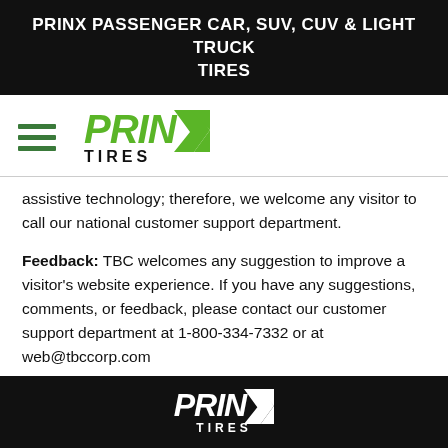PRINX PASSENGER CAR, SUV, CUV & LIGHT TRUCK TIRES
[Figure (logo): Prinx Tires logo with hamburger menu icon on the left]
assistive technology; therefore, we welcome any visitor to call our national customer support department.
Feedback: TBC welcomes any suggestion to improve a visitor's website experience. If you have any suggestions, comments, or feedback, please contact our customer support department at 1-800-334-7332 or at web@tbccorp.com
[Figure (logo): Prinx Tires logo in white on black background at bottom of page]